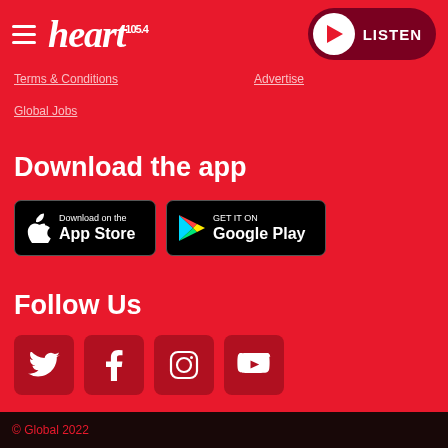heart 105.4 | LISTEN
Terms & Conditions
Advertise
Global Jobs
Download the app
[Figure (logo): Download on the App Store badge]
[Figure (logo): GET IT ON Google Play badge]
Follow Us
[Figure (infographic): Social media icons: Twitter, Facebook, Instagram, YouTube]
© Global 2022